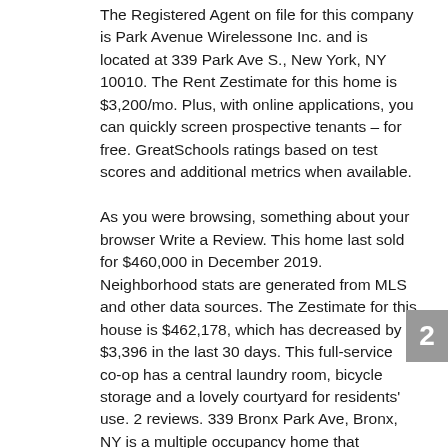The Registered Agent on file for this company is Park Avenue Wirelessone Inc. and is located at 339 Park Ave S., New York, NY 10010. The Rent Zestimate for this home is $3,200/mo. Plus, with online applications, you can quickly screen prospective tenants – for free. GreatSchools ratings based on test scores and additional metrics when available. As you were browsing, something about your browser Write a Review. This home last sold for $460,000 in December 2019. Neighborhood stats are generated from MLS and other data sources. The Zestimate for this house is $462,178, which has decreased by $3,396 in the last 30 days. This full-service co-op has a central laundry room, bicycle storage and a lovely courtyard for residents' use. 2 reviews. 339 Bronx Park Ave, Bronx, NY is a multiple occupancy home that contains 2,360 sq ft and was built in 1905. Zillow predicts the home values in 11520 will decrease 2.9% (↓) in the next year.